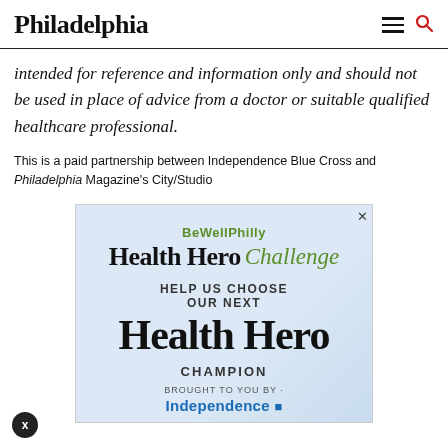Philadelphia
intended for reference and information only and should not be used in place of advice from a doctor or suitable qualified healthcare professional.
This is a paid partnership between Independence Blue Cross and Philadelphia Magazine's City/Studio
[Figure (infographic): BeWellPhilly Health Hero Challenge advertisement. Shows 'HELP US CHOOSE OUR NEXT Health Hero CHAMPION BROUGHT TO YOU BY Independence [Blue Cross logo]'. Features a close button (x) in top right and an X button in bottom left.]